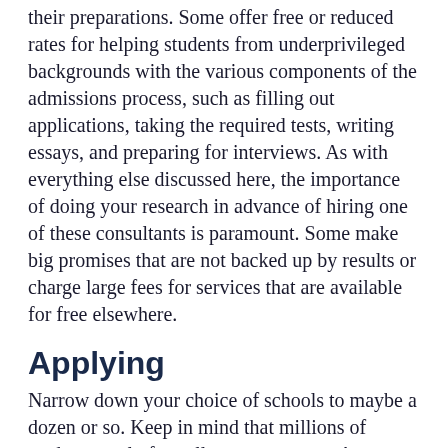their preparations. Some offer free or reduced rates for helping students from underprivileged backgrounds with the various components of the admissions process, such as filling out applications, taking the required tests, writing essays, and preparing for interviews. As with everything else discussed here, the importance of doing your research in advance of hiring one of these consultants is paramount. Some make big promises that are not backed up by results or charge large fees for services that are available for free elsewhere.
Applying
Narrow down your choice of schools to maybe a dozen or so. Keep in mind that millions of students apply for colleges every year. As mentioned, applications for Early Admission are due in October. Some institutions refer to this as Early Action or Early Decision. Either way, it is a process whereby students must submit